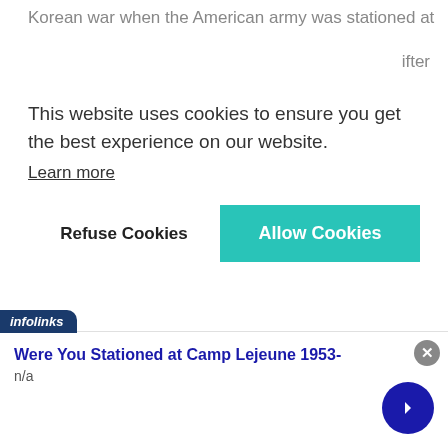Korean war when the American army was stationed at
ifter
This website uses cookies to ensure you get the best experience on our website.
Learn more
Refuse Cookies
Allow Cookies
Like this:
Loading...
Continue reading
infolinks
Were You Stationed at Camp Lejeune 1953-
n/a